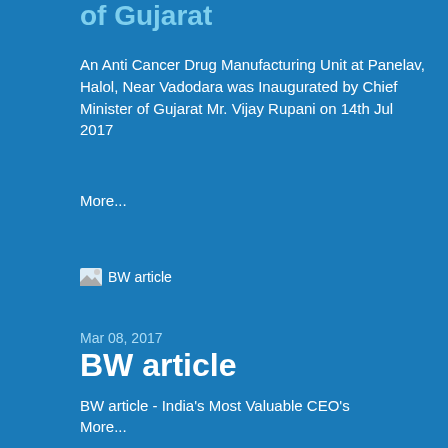of Gujarat
An Anti Cancer Drug Manufacturing Unit at Panelav, Halol, Near Vadodara was Inaugurated by Chief Minister of Gujarat Mr. Vijay Rupani on 14th Jul 2017
More...
[Figure (photo): BW article image placeholder]
Mar 08, 2017
BW article
BW article - India's Most Valuable CEO's
More...